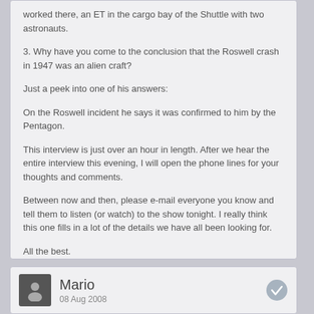worked there, an ET in the cargo bay of the Shuttle with two astronauts.
3. Why have you come to the conclusion that the Roswell crash in 1947 was an alien craft?
Just a peek into one of his answers:
On the Roswell incident he says it was confirmed to him by the Pentagon.
This interview is just over an hour in length. After we hear the entire interview this evening, I will open the phone lines for your thoughts and comments.
Between now and then, please e-mail everyone you know and tell them to listen (or watch) to the show tonight. I really think this one fills in a lot of the details we have all been looking for.
All the best.
Kevin Smith
http://kevinsmithshow.com
Mario
08 Aug 2008